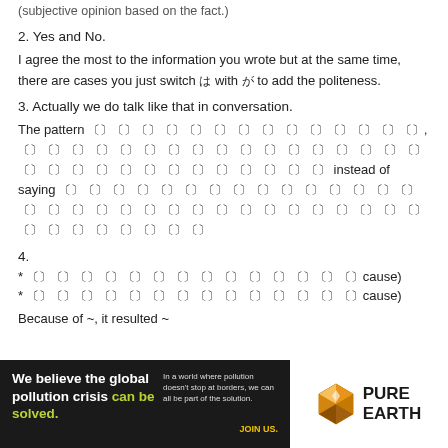(subjective opinion based on the fact.)
2. Yes and No.
I agree the most to the information you wrote but at the same time, there are cases you just switch 〜は with 〜が to add the politeness.
3. Actually we do talk like that in conversation.
The pattern 〔Japanese text〕, 〔Japanese text〕 instead of saying 〔Japanese text〕
4.
* 〔Japanese text〕cause)
* 〔Japanese text〕cause)
Because of ~, it resulted ~
[Figure (infographic): Pure Earth advertisement banner: black background left side with headline 'We believe the global pollution crisis can be solved.' in white with green highlight, small text 'In a world where pollution doesn't stop at borders, we can all be part of the solution.' and 'JOIN US.' in yellow; right side white panel with Pure Earth diamond logo and PURE EARTH text in bold.]